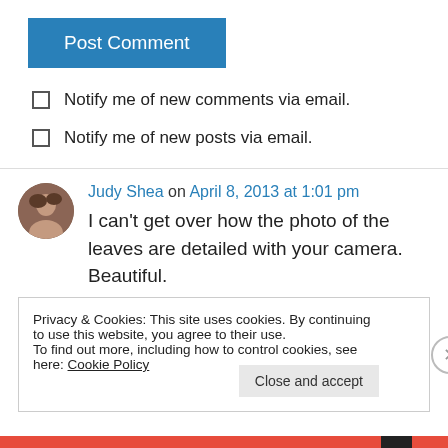[Figure (other): Post Comment button - blue rectangle with white text]
Notify me of new comments via email.
Notify me of new posts via email.
Judy Shea on April 8, 2013 at 1:01 pm
I can’t get over how the photo of the leaves are detailed with your camera. Beautiful.
Privacy & Cookies: This site uses cookies. By continuing to use this website, you agree to their use.
To find out more, including how to control cookies, see here: Cookie Policy